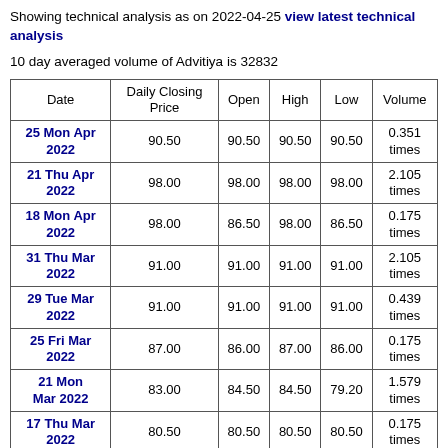Showing technical analysis as on 2022-04-25 view latest technical analysis
10 day averaged volume of Advitiya is 32832
| Date | Daily Closing Price | Open | High | Low | Volume |
| --- | --- | --- | --- | --- | --- |
| 25 Mon Apr 2022 | 90.50 | 90.50 | 90.50 | 90.50 | 0.351 times |
| 21 Thu Apr 2022 | 98.00 | 98.00 | 98.00 | 98.00 | 2.105 times |
| 18 Mon Apr 2022 | 98.00 | 86.50 | 98.00 | 86.50 | 0.175 times |
| 31 Thu Mar 2022 | 91.00 | 91.00 | 91.00 | 91.00 | 2.105 times |
| 29 Tue Mar 2022 | 91.00 | 91.00 | 91.00 | 91.00 | 0.439 times |
| 25 Fri Mar 2022 | 87.00 | 86.00 | 87.00 | 86.00 | 0.175 times |
| 21 Mon Mar 2022 | 83.00 | 84.50 | 84.50 | 79.20 | 1.579 times |
| 17 Thu Mar 2022 | 80.50 | 80.50 | 80.50 | 80.50 | 0.175 times |